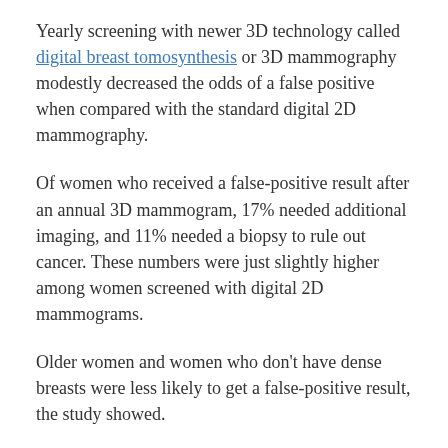Yearly screening with newer 3D technology called digital breast tomosynthesis or 3D mammography modestly decreased the odds of a false positive when compared with the standard digital 2D mammography.
Of women who received a false-positive result after an annual 3D mammogram, 17% needed additional imaging, and 11% needed a biopsy to rule out cancer. These numbers were just slightly higher among women screened with digital 2D mammograms.
Older women and women who don't have dense breasts were less likely to get a false-positive result, the study showed.
There's been an ongoing debate within the medical community about how often women should undergo breast cancer screening.